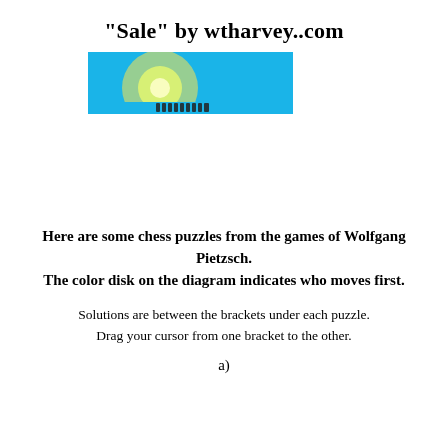"Sale" by wtharvey..com
[Figure (illustration): A wide rectangular image with a cyan/sky-blue background and a bright yellow-green glowing spot in the center-left area, with small dark chess piece silhouettes along the bottom edge.]
Here are some chess puzzles from the games of Wolfgang Pietzsch. The color disk on the diagram indicates who moves first.
Solutions are between the brackets under each puzzle. Drag your cursor from one bracket to the other.
a)